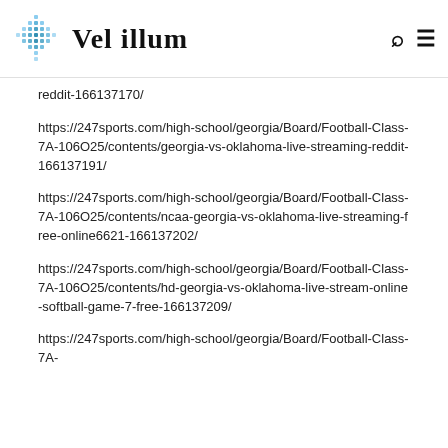Vel illum
reddit-166137170/
https://247sports.com/high-school/georgia/Board/Football-Class-7A-106O25/contents/georgia-vs-oklahoma-live-streaming-reddit-166137191/
https://247sports.com/high-school/georgia/Board/Football-Class-7A-106O25/contents/ncaa-georgia-vs-oklahoma-live-streaming-free-online6621-166137202/
https://247sports.com/high-school/georgia/Board/Football-Class-7A-106O25/contents/hd-georgia-vs-oklahoma-live-stream-online-softball-game-7-free-166137209/
https://247sports.com/high-school/georgia/Board/Football-Class-7A-